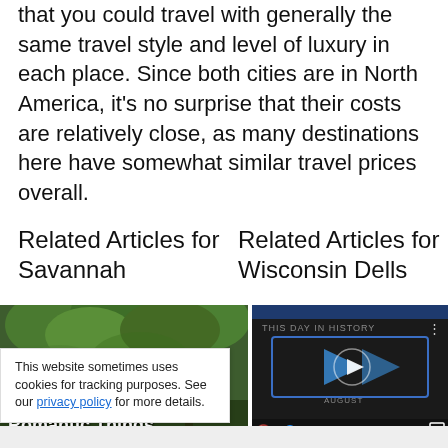that you could travel with generally the same travel style and level of luxury in each place. Since both cities are in North America, it's no surprise that their costs are relatively close, as many destinations here have somewhat similar travel prices overall.
Related Articles for Savannah
Related Articles for Wisconsin Dells
[Figure (photo): Photo of tree canopy / nature scene with text overlay 'Romantic Things']
[Figure (screenshot): Video player showing 'This Day in History' with August label and play button]
This website sometimes uses cookies for tracking purposes. See our privacy policy for more details.